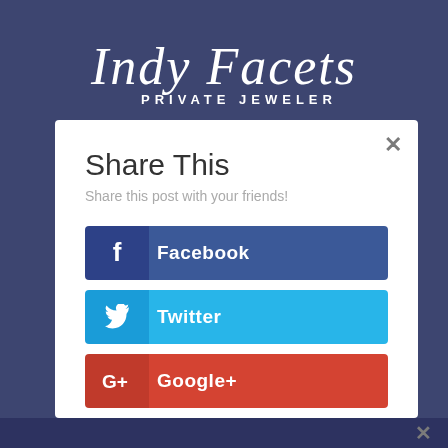[Figure (logo): Indy Facets Private Jeweler logo in white italic script on dark blue background]
Share This
Share this post with your friends!
Facebook
Twitter
Google+
Pinterest